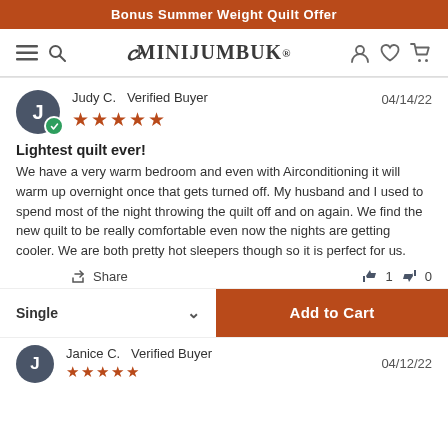Bonus Summer Weight Quilt Offer
[Figure (logo): MiniJumbuk brand logo with navigation icons (hamburger menu, search, user, wishlist, cart)]
Judy C.  Verified Buyer
04/14/22
★★★★★
Lightest quilt ever!
We have a very warm bedroom and even with Airconditioning it will warm up overnight once that gets turned off. My husband and I used to spend most of the night throwing the quilt off and on again. We find the new quilt to be really comfortable even now the nights are getting cooler. We are both pretty hot sleepers though so it is perfect for us.
Share   👍 1  👎 0
Single  ∨  Add to Cart
Janice C.  Verified Buyer  04/12/22